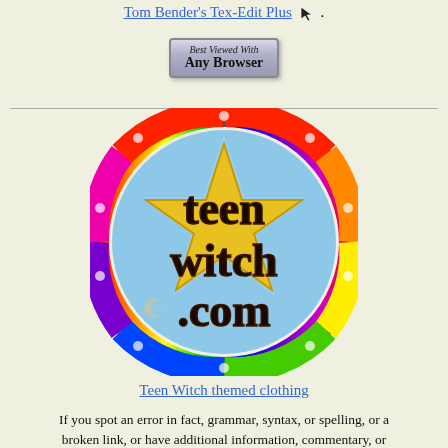Tom Bender's Tex-Edit Plus [cursor icon]
[Figure (logo): Best Viewed With Any Browser badge button]
[Figure (logo): Teen Witch .com circular logo with rainbow border and gold star pentagram on blue background]
Teen Witch themed clothing
If you spot an error in fact, grammar, syntax, or spelling, or a broken link, or have additional information, commentary, or